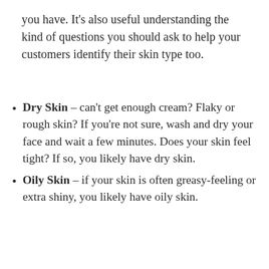you have. It's also useful understanding the kind of questions you should ask to help your customers identify their skin type too.
Dry Skin – can't get enough cream? Flaky or rough skin? If you're not sure, wash and dry your face and wait a few minutes. Does your skin feel tight? If so, you likely have dry skin.
Oily Skin – if your skin is often greasy-feeling or extra shiny, you likely have oily skin.